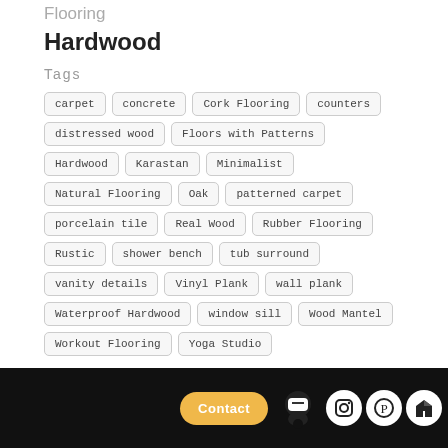Flooring
Hardwood
Tags
carpet
concrete
Cork Flooring
counters
distressed wood
Floors with Patterns
Hardwood
Karastan
Minimalist
Natural Flooring
Oak
patterned carpet
porcelain tile
Real Wood
Rubber Flooring
Rustic
shower bench
tub surround
vanity details
Vinyl Plank
wall plank
Waterproof Hardwood
window sill
Wood Mantel
Workout Flooring
Yoga Studio
Contact | Instagram | Pinterest | chat icon